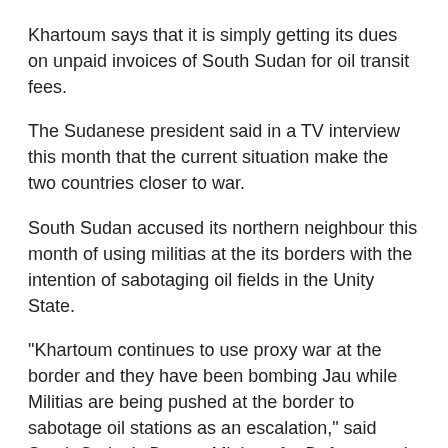Khartoum says that it is simply getting its dues on unpaid invoices of South Sudan for oil transit fees.
The Sudanese president said in a TV interview this month that the current situation make the two countries closer to war.
South Sudan accused its northern neighbour this month of using militias at the its borders with the intention of sabotaging oil fields in the Unity State.
"Khartoum continues to use proxy war at the border and they have been bombing Jau while Militias are being pushed at the border to sabotage oil stations as an escalation," said South Sudan's Deputy Minister for Defence and Veteran Affairs, Majak Agoot this month.
Oil is the lifeline of both economies, but the South is more vulnerable because it has almost no other industries to fall